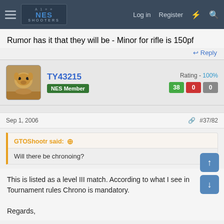NES Shooters — Log in  Register
Rumor has it that they will be - Minor for rifle is 150pf
↩ Reply
TY43215  NES Member  Rating - 100%  38  0  0
Sep 1, 2006   #37/82
GTOShootr said: ↑
Will there be chronoing?
This is listed as a level III match. According to what I see in Tournament rules Chrono is mandatory.

Regards,